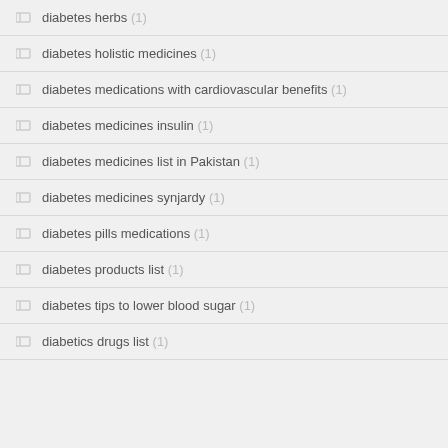diabetes herbs (1)
diabetes holistic medicines (1)
diabetes medications with cardiovascular benefits (1)
diabetes medicines insulin (1)
diabetes medicines list in Pakistan (1)
diabetes medicines synjardy (1)
diabetes pills medications (1)
diabetes products list (1)
diabetes tips to lower blood sugar (1)
diabetics drugs list (1)